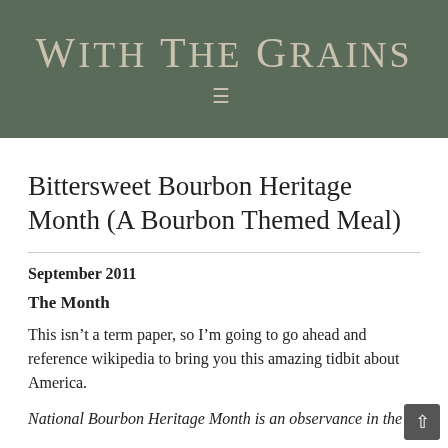WITH THE GRAINS
Bittersweet Bourbon Heritage Month (A Bourbon Themed Meal)
September 2011
The Month
This isn’t a term paper, so I’m going to go ahead and reference wikipedia to bring you this amazing tidbit about America.
National Bourbon Heritage Month is an observance in the